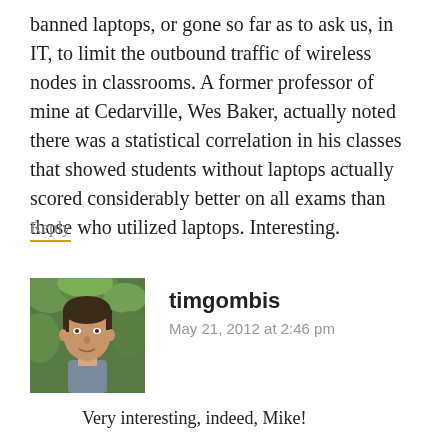banned laptops, or gone so far as to ask us, in IT, to limit the outbound traffic of wireless nodes in classrooms. A former professor of mine at Cedarville, Wes Baker, actually noted there was a statistical correlation in his classes that showed students without laptops actually scored considerably better on all exams than those who utilized laptops. Interesting.
Reply
[Figure (photo): Headshot of a man with short dark hair against a green leafy background]
timgombis
May 21, 2012 at 2:46 pm
Very interesting, indeed, Mike!